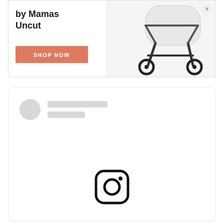[Figure (screenshot): Advertisement banner for a stroller by Mamas Uncut. Left side shows text 'by Mamas Uncut' with a coral/orange 'SHOP NOW' button. Right side shows a photo of a baby stroller. A small 'X' close button appears in top right corner.]
[Figure (screenshot): Social media embed card (Instagram) showing a loading/placeholder state with a grey circle avatar, two grey placeholder bars for text, and an Instagram logo icon centered in the content area.]